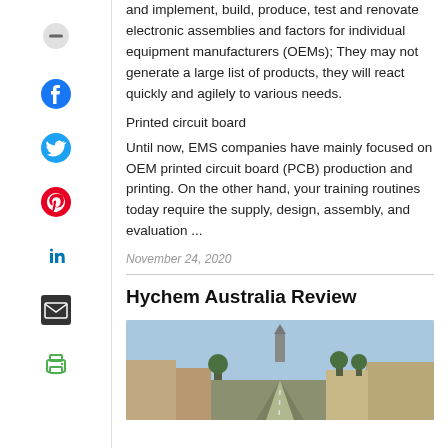and implement, build, produce, test and renovate electronic assemblies and factors for individual equipment manufacturers (OEMs); They may not generate a large list of products, they will react quickly and agilely to various needs.
Printed circuit board
Until now, EMS companies have mainly focused on OEM printed circuit board (PCB) production and printing. On the other hand, your training routines today require the supply, design, assembly, and evaluation ...
November 24, 2020
Hychem Australia Review
[Figure (photo): Aerial/street-level view of a town with a tall church spire in the background, road leading into the distance, trees and buildings on either side, under a clear blue sky.]